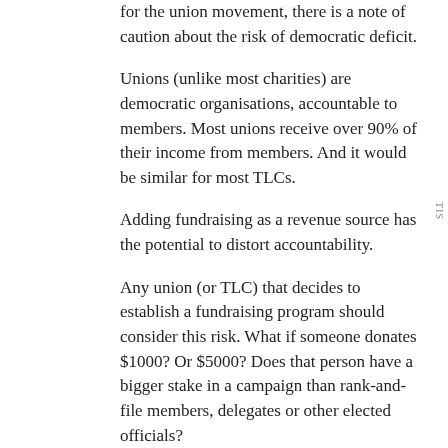for the union movement, there is a note of caution about the risk of democratic deficit.
Unions (unlike most charities) are democratic organisations, accountable to members. Most unions receive over 90% of their income from members. And it would be similar for most TLCs.
Adding fundraising as a revenue source has the potential to distort accountability.
Any union (or TLC) that decides to establish a fundraising program should consider this risk. What if someone donates $1000? Or $5000? Does that person have a bigger stake in a campaign than rank-and-file members, delegates or other elected officials?
Similarly, best-practice fundraising guidelines includes extensive “donor welcome journeys” and the like. It is important to ensure that members, not